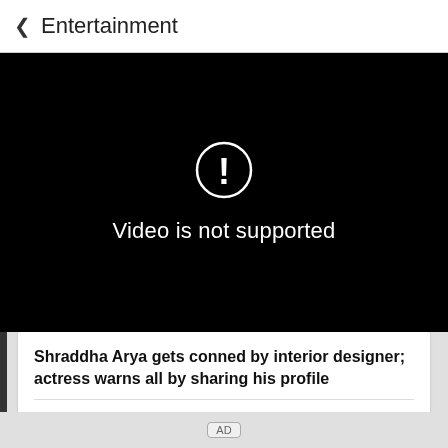< Entertainment
[Figure (screenshot): Black video player area showing error: circle with exclamation mark icon and text 'Video is not supported']
Shraddha Arya gets conned by interior designer; actress warns all by sharing his profile
[Figure (logo): WhatsApp share icon (green phone logo)]
AD